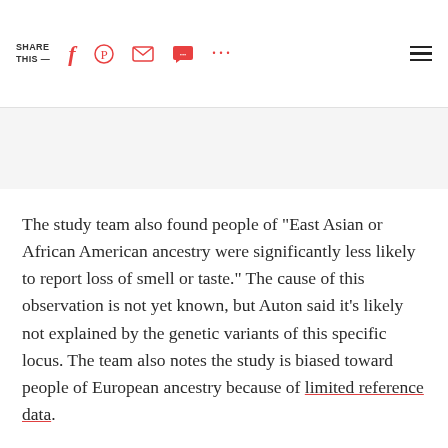SHARE THIS —
The study team also found people of “East Asian or African American ancestry were significantly less likely to report loss of smell or taste.” The cause of this observation is not yet known, but Auton said it’s likely not explained by the genetic variants of this specific locus. The team also notes the study is biased toward people of European ancestry because of limited reference data.